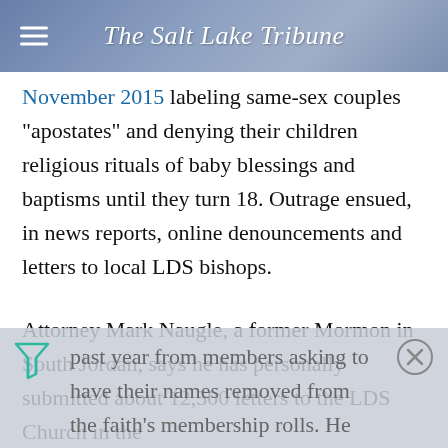The Salt Lake Tribune
November 2015 labeling same-sex couples "apostates" and denying their children religious rituals of baby blessings and baptisms until they turn 18. Outrage ensued, in news reports, online denouncements and letters to local LDS bishops.
Attorney Mark Naugle, a former Mormon in South Jordan, says he has personally submitted about 12,500 letters to the LDS Church in the past year from members asking to have their names removed from the faith's membership rolls. He has received requests from most states,